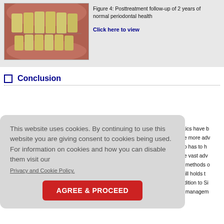[Figure (photo): Clinical photo showing posttreatment follow-up of teeth, frontal view of dentition]
Figure 4: Posttreatment follow-up of 2 years of normal periodontal health
Click here to view
Conclusion
This website uses cookies. By continuing to use this website you are giving consent to cookies being used. For information on cookies and how you can disable them visit our
Privacy and Cookie Policy.
AGREE & PROCEED
ntics have b
ne more adv
ho has to h
he vast adv
e methods o
still holds t
ddition to Si
e managem